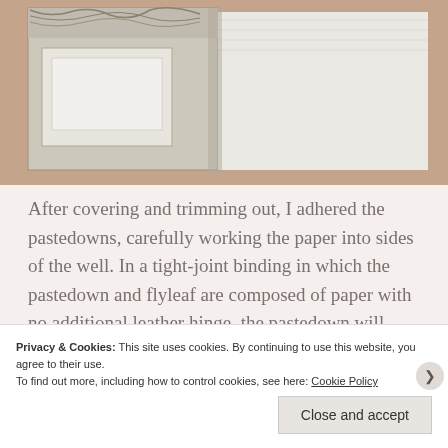[Figure (photo): Photo of an open book or album with a decorative marbled cover and white/cream pages, lying on a pinkish-tan surface.]
After covering and trimming out, I adhered the pastedowns, carefully working the paper into sides of the well. In a tight-joint binding in which the pastedown and flyleaf are composed of paper with no additional leather hinge, the pastedown will come up short along the fore-edge. This gives an uneven
Privacy & Cookies: This site uses cookies. By continuing to use this website, you agree to their use.
To find out more, including how to control cookies, see here: Cookie Policy
Close and accept